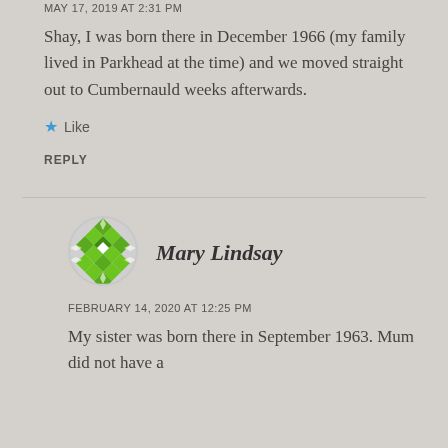MAY 17, 2019 AT 2:31 PM
Shay, I was born there in December 1966 (my family lived in Parkhead at the time) and we moved straight out to Cumbernauld weeks afterwards.
★ Like
REPLY
Mary Lindsay
FEBRUARY 14, 2020 AT 12:25 PM
My sister was born there in September 1963. Mum did not have a